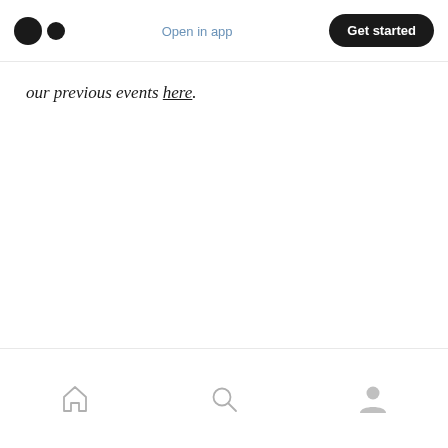Medium logo | Open in app | Get started
our previous events here.
Home | Search | Profile